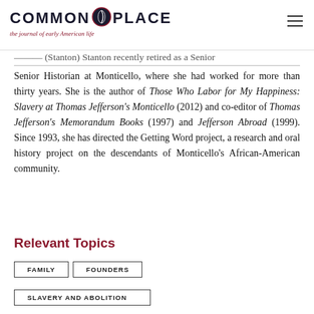COMMONPLACE the journal of early American life
Senior Historian at Monticello, where she had worked for more than thirty years. She is the author of Those Who Labor for My Happiness: Slavery at Thomas Jefferson's Monticello (2012) and co-editor of Thomas Jefferson's Memorandum Books (1997) and Jefferson Abroad (1999). Since 1993, she has directed the Getting Word project, a research and oral history project on the descendants of Monticello's African-American community.
Relevant Topics
FAMILY
FOUNDERS
SLAVERY AND ABOLITION